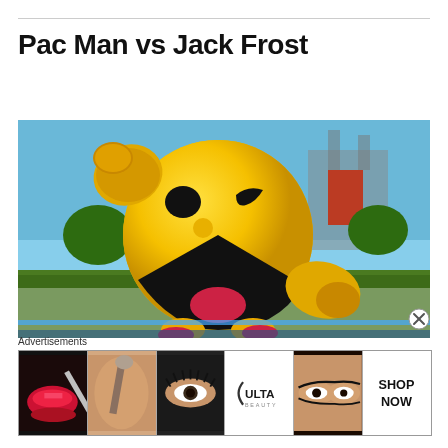Pac Man vs Jack Frost
[Figure (photo): 3D rendered Pac-Man character in a fighting pose against a colorful outdoor game stage background. Pac-Man is yellow, large, smiling with a red tongue, with black eyes and markings, raising one fist. The background shows grass, trees, a structure and blue sky.]
Advertisements
[Figure (photo): Advertisement banner showing Ulta Beauty advertisement with four panels: red lipstick with brush, makeup brush against skin, eye with mascara, Ulta Beauty logo, close-up of eyes with eyeliner, and a 'SHOP NOW' call to action button.]